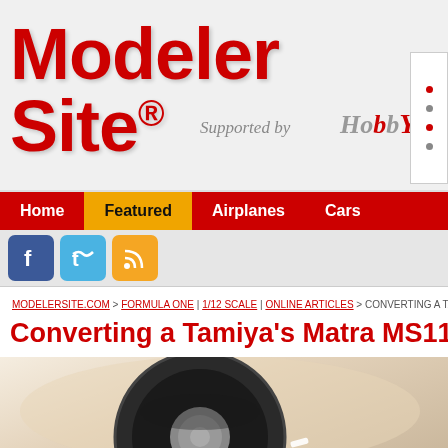Modeler Site® — Supported by HobbEasy
Home | Featured | Airplanes | Cars
[Figure (screenshot): Social media icons: Facebook, Twitter, RSS feed]
MODELERSITE.COM > FORMULA ONE | 1/12 SCALE | ONLINE ARTICLES > CONVERTING A TAMIYA'S M...
Converting a Tamiya's Matra MS11 to M
[Figure (photo): Close-up photo of a model car wheel/tire on a beige background]